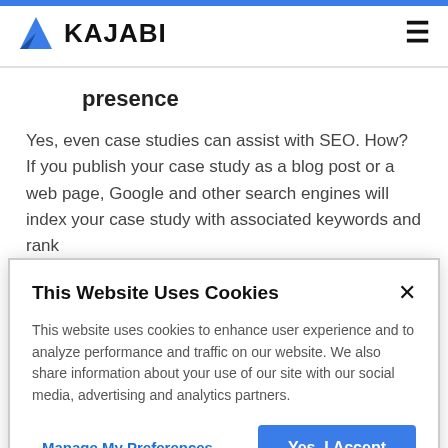KAJABI
presence
Yes, even case studies can assist with SEO. How? If you publish your case study as a blog post or a web page, Google and other search engines will index your case study with associated keywords and rank
This Website Uses Cookies
This website uses cookies to enhance user experience and to analyze performance and traffic on our website. We also share information about your use of our site with our social media, advertising and analytics partners.
Manage My Preferences
Yes, I Accept